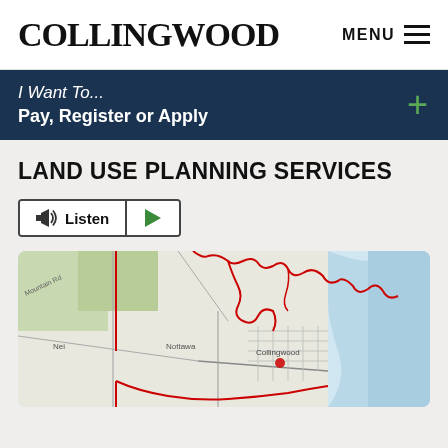COLLINGWOOD
I Want To... Pay, Register or Apply
LAND USE PLANNING SERVICES
Listen
[Figure (map): Map of Collingwood municipality showing the town boundaries outlined in red, with surrounding area including waterfront to the northeast (blue water), roads, and labeled areas including 'Collingwood' town center. Red boundary lines trace the municipal limits.]